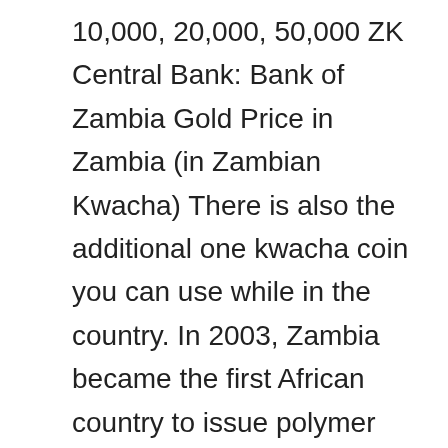10,000, 20,000, 50,000 ZK Central Bank: Bank of Zambia Gold Price in Zambia (in Zambian Kwacha) There is also the additional one kwacha coin you can use while in the country. In 2003, Zambia became the first African country to issue polymer banknotes. Currency conversion rates from South African Rand to Zambian Kwacha today Fri, 22 Jan 2021: convert from ZAR to ZMK and also convert in a reverse direction. This South African Rand and Zambian Kwacha convertor is up to date with exchange rates from January 19, 2021.. â 10 Kwacha equal 0.36 Pound Sterlings. Get also a Kwacha to Rand currency converter widget or currency conversion guide sheet or chart for your